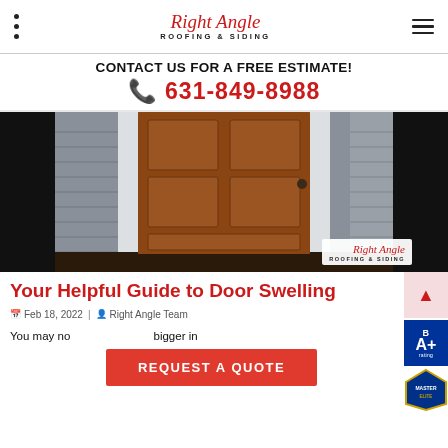Right Angle ROOFING & SIDING
CONTACT US FOR A FREE ESTIMATE!
📞 631-849-8988
[Figure (photo): Photo of a wooden front door on a house with gray siding, showing the door frame and entryway. Right Angle Roofing & Siding watermark in bottom right.]
Your Helpful Guide to Door Swelling
Feb 18, 2022 | Right Angle Team
You may no... bigger in
REQUEST A QUOTE